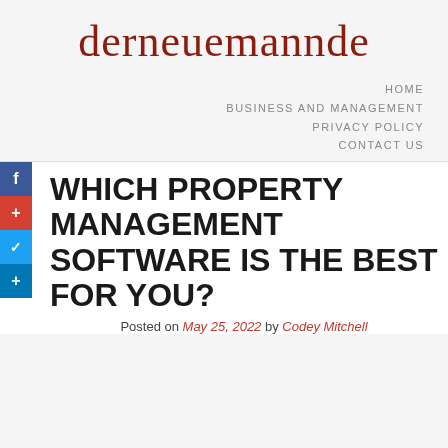derneuemannde
HOME
BUSINESS AND MANAGEMENT
PRIVACY POLICY
CONTACT US
WHICH PROPERTY MANAGEMENT SOFTWARE IS THE BEST FOR YOU?
Posted on May 25, 2022 by Codey Mitchell